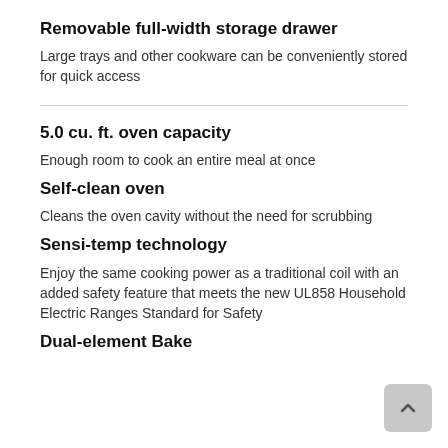Removable full-width storage drawer
Large trays and other cookware can be conveniently stored for quick access
5.0 cu. ft. oven capacity
Enough room to cook an entire meal at once
Self-clean oven
Cleans the oven cavity without the need for scrubbing
Sensi-temp technology
Enjoy the same cooking power as a traditional coil with an added safety feature that meets the new UL858 Household Electric Ranges Standard for Safety
Dual-element Bake